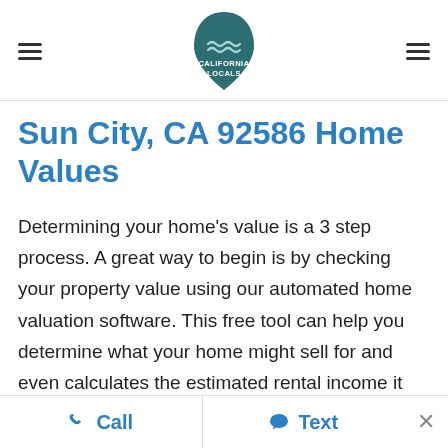California Locals — navigation header with hamburger menu and logo
Sun City, CA 92586 Home Values
Determining your home's value is a 3 step process. A great way to begin is by checking your property value using our automated home valuation software. This free tool can help you determine what your home might sell for and even calculates the estimated rental income it could generate by leasing out your property. If you're considering selling your home, the next step would be to have a Sun City real estate agent determine your property value by analyzing recent sales via MLS and public record data. To begin the
Call   Text   ×